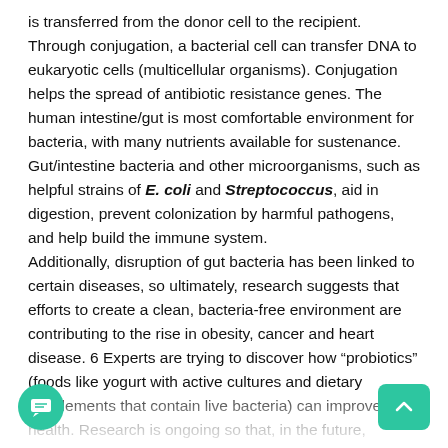is transferred from the donor cell to the recipient. Through conjugation, a bacterial cell can transfer DNA to eukaryotic cells (multicellular organisms). Conjugation helps the spread of antibiotic resistance genes. The human intestine/gut is most comfortable environment for bacteria, with many nutrients available for sustenance. Gut/intestine bacteria and other microorganisms, such as helpful strains of E. coli and Streptococcus, aid in digestion, prevent colonization by harmful pathogens, and help build the immune system.
Additionally, disruption of gut bacteria has been linked to certain diseases, so ultimately, research suggests that efforts to create a clean, bacteria-free environment are contributing to the rise in obesity, cancer and heart disease. 6 Experts are trying to discover how “probiotics” (foods like yogurt with active cultures and dietary supplements that contain live bacteria) can improve our health. Research is ongoing so that, in the future, specific bacteria can be prescribed as personalized treatments for patients.
Our immune system needs the right combination of bacteria so that we can stay healthy and rely less on drugs. Antibiotics are still a powerful tool to keep us healthy, but they should not be used when they are not needed. They can harm the very organisms that help...